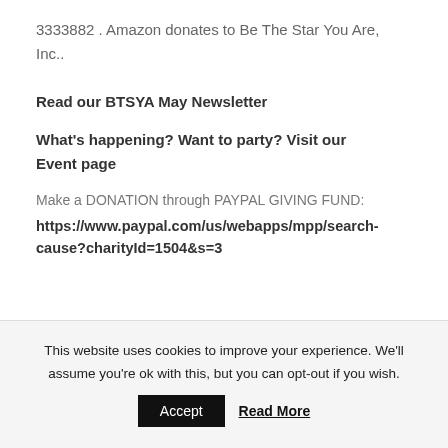3333882 . Amazon donates to Be The Star You Are, Inc..
Read our BTSYA May Newsletter
What's happening? Want to party? Visit our Event page
Make a DONATION through PAYPAL GIVING FUND: https://www.paypal.com/us/webapps/mpp/search-cause?charityId=1504&s=3
This website uses cookies to improve your experience. We'll assume you're ok with this, but you can opt-out if you wish.
Accept   Read More